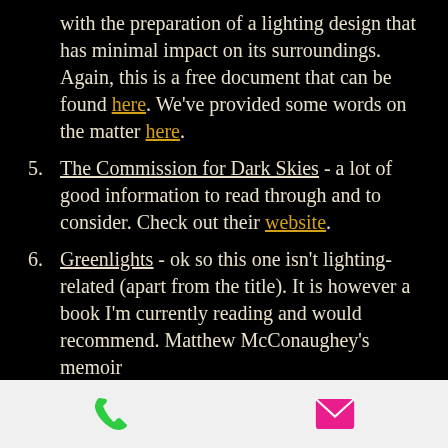with the preparation of a lighting design that has minimal impact on its surroundings. Again, this is a free document that can be found here. We've provided some words on the matter here.
5. The Commission for Dark Skies - a lot of good information to read through and to consider. Check out their website.
6. Greenlights - ok so this one isn't lighting-related (apart from the title). It is however a book I'm currently reading and would recommend. Matthew McConaughey's memoir
[Figure (infographic): Mobile app footer bar with phone icon (green) on left and email/envelope icon (pink/magenta) on right, on light grey background]